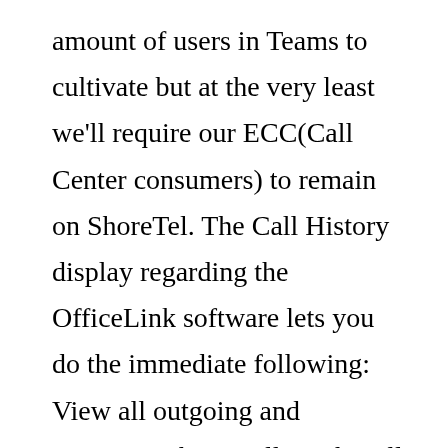amount of users in Teams to cultivate but at the very least we'll require our ECC(Call Center consumers) to remain on ShoreTel. The Call History display regarding the OfficeLink software lets you do the immediate following: View all outgoing and incoming phone calls in the All list. View only incoming calls that have been maybe maybe not answered into the Missed list. Compare MiCloud Connect (formerly ShoreTel) vs Mitel MiCollab. 137 user that is verified and ranks of features, advantages